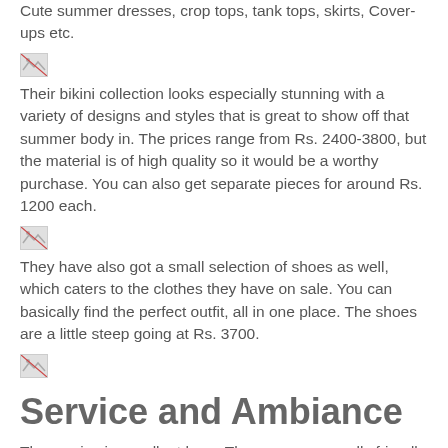Cute summer dresses, crop tops, tank tops, skirts, Cover-ups etc.
[Figure (photo): Broken/missing image placeholder]
Their bikini collection looks especially stunning with a variety of designs and styles that is great to show off that summer body in. The prices range from Rs. 2400-3800, but the material is of high quality so it would be a worthy purchase. You can also get separate pieces for around Rs. 1200 each.
[Figure (photo): Broken/missing image placeholder]
They have also got a small selection of shoes as well, which caters to the clothes they have on sale. You can basically find the perfect outfit, all in one place. The shoes are a little steep going at Rs. 3700.
[Figure (photo): Broken/missing image placeholder]
Service and Ambiance
The service is excellent here. The owner was really friendly and let us do our thing when we awkwardly took the pics.